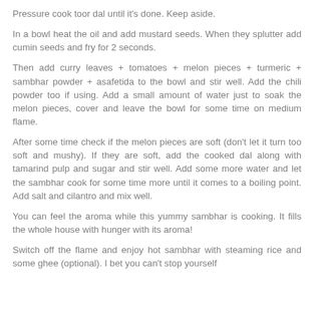Pressure cook toor dal until it's done. Keep aside.
In a bowl heat the oil and add mustard seeds. When they splutter add cumin seeds and fry for 2 seconds.
Then add curry leaves + tomatoes + melon pieces + turmeric + sambhar powder + asafetida to the bowl and stir well. Add the chili powder too if using. Add a small amount of water just to soak the melon pieces, cover and leave the bowl for some time on medium flame.
After some time check if the melon pieces are soft (don't let it turn too soft and mushy). If they are soft, add the cooked dal along with tamarind pulp and sugar and stir well. Add some more water and let the sambhar cook for some time more until it comes to a boiling point. Add salt and cilantro and mix well.
You can feel the aroma while this yummy sambhar is cooking. It fills the whole house with hunger with its aroma!
Switch off the flame and enjoy hot sambhar with steaming rice and some ghee (optional). I bet you can't stop yourself